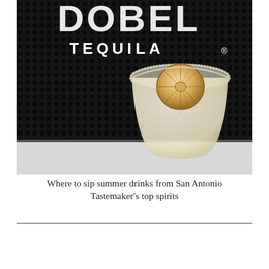[Figure (photo): A cocktail glass with a pale yellow drink topped with a dried citrus wheel, sitting on a black rubber bar mat with 'DOBEL TEQUILA' text visible in the background.]
Where to sip summer drinks from San Antonio Tastemaker's top spirits
LATEST NEWS
MOST POPULAR
What to eat, drink, see, and do while in Waco for weekend